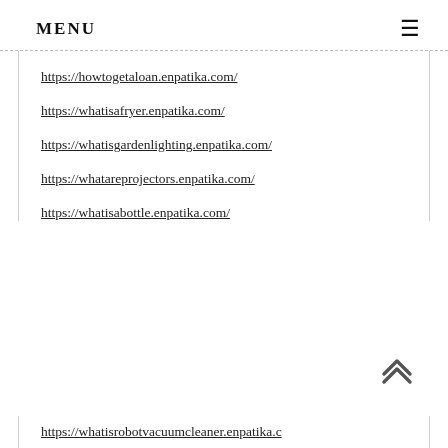MENU
https://howtogetaloan.enpatika.com/
https://whatisafryer.enpatika.com/
https://whatisgardenlighting.enpatika.com/
https://whatareprojectors.enpatika.com/
https://whatisabottle.enpatika.com/
https://whatisrobotvacuumcleaner.enpatika.c…